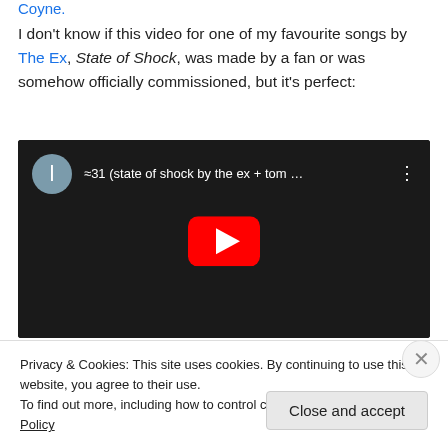Coyne.
I don't know if this video for one of my favourite songs by The Ex, State of Shock, was made by a fan or was somehow officially commissioned, but it's perfect:
[Figure (screenshot): Embedded YouTube video player showing '≈31 (state of shock by the ex + tom ...' with a play button overlay on a dark background image of a stone/wood surface.]
Privacy & Cookies: This site uses cookies. By continuing to use this website, you agree to their use.
To find out more, including how to control cookies, see here: Cookie Policy
Close and accept